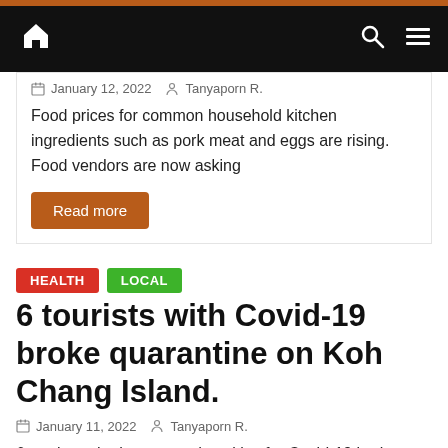Navigation bar with home, search, and menu icons
January 12, 2022   Tanyaporn R.
Food prices for common household kitchen ingredients such as pork meat and eggs are rising. Food vendors are now asking
Read more
HEALTH  LOCAL
6 tourists with Covid-19 broke quarantine on Koh Chang Island.
January 11, 2022   Tanyaporn R.
6 tourists who have tested positive for Covid-19 broke quarantine at a hotel located on Koh Chang Island. The tourists
Read more